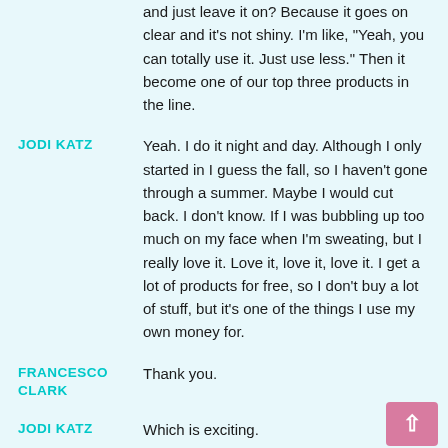and just leave it on? Because it goes on clear and it's not shiny. I'm like, "Yeah, you can totally use it. Just use less." Then it become one of our top three products in the line.
Yeah. I do it night and day. Although I only started in I guess the fall, so I haven't gone through a summer. Maybe I would cut back. I don't know. If I was bubbling up too much on my face when I'm sweating, but I really love it. Love it, love it, love it. I get a lot of products for free, so I don't buy a lot of stuff, but it's one of the things I use my own money for.
Thank you.
Which is exciting.